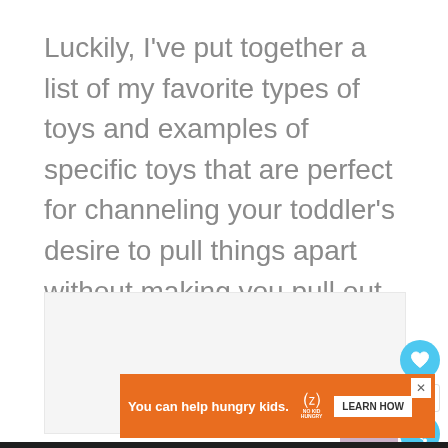Luckily, I've put together a list of my favorite types of toys and examples of specific toys that are perfect for channeling your toddler's desire to pull things apart without making you pull out your hair in the process. ☺
[Figure (screenshot): Partially visible image placeholder area with light gray background]
[Figure (screenshot): Orange advertisement banner: 'You can help hungry kids.' with No Kid Hungry logo and LEARN HOW button]
[Figure (screenshot): Black advertisement bar: Big Brothers Big Sisters logo, 'MENTOR A KID IN YOUR COMMUNITY.' with Learn How button]